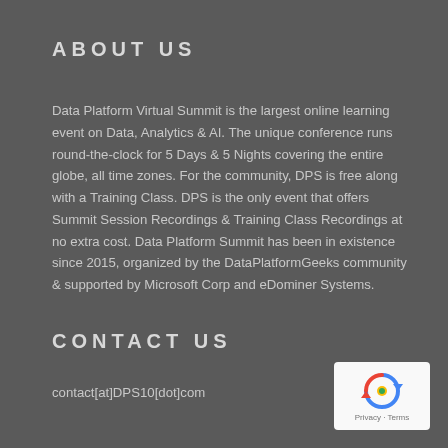ABOUT US
Data Platform Virtual Summit is the largest online learning event on Data, Analytics & AI. The unique conference runs round-the-clock for 5 Days & 5 Nights covering the entire globe, all time zones. For the community, DPS is free along with a Training Class. DPS is the only event that offers Summit Session Recordings & Training Class Recordings at no extra cost. Data Platform Summit has been in existence since 2015, organized by the DataPlatformGeeks community & supported by Microsoft Corp and eDominer Systems.
CONTACT US
contact[at]DPS10[dot]com
[Figure (logo): reCAPTCHA logo with Privacy and Terms text]